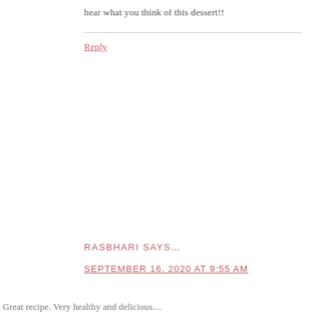hear what you think of this dessert!!
Reply
RASBHARI SAYS…
SEPTEMBER 16, 2020 AT 9:55 AM
Great recipe. Very healthy and delicious…